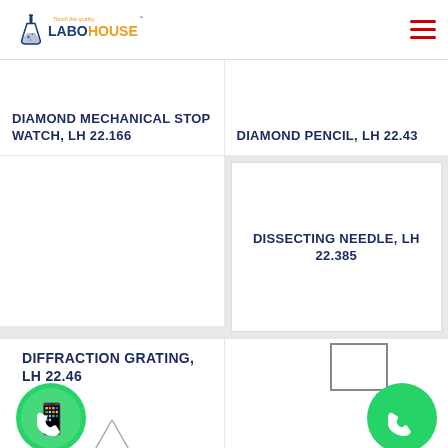[Figure (logo): LaboHouse logo with flask icon and tagline 'Touch the quality']
DIAMOND MECHANICAL STOP WATCH, LH 22.166
DIAMOND PENCIL, LH 22.43
[Figure (photo): Product image area (blank) for Diamond Mechanical Stop Watch]
DISSECTING NEEDLE, LH 22.385
DIFFRACTION GRATING, LH 22.46
[Figure (photo): Partial product image for Diffraction Grating at bottom]
[Figure (illustration): WhatsApp contact button (green circle with phone handset icon)]
[Figure (illustration): Phone contact button (green circle with phone handset icon), with product image stub]